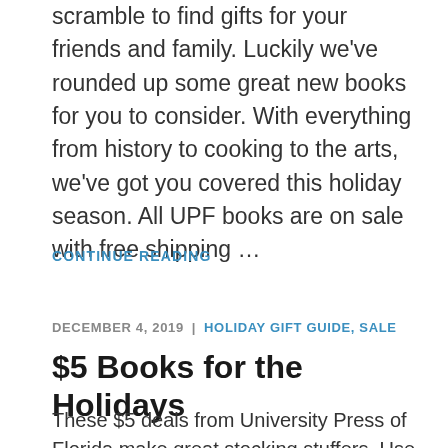scramble to find gifts for your friends and family. Luckily we've rounded up some great new books for you to consider. With everything from history to cooking to the arts, we've got you covered this holiday season. All UPF books are on sale with free shipping …
CONTINUE READING
DECEMBER 4, 2019 | HOLIDAY GIFT GUIDE, SALE
$5 Books for the Holidays
These $5 deals from University Press of Florida make great stocking stuffers. Use code XM19 for